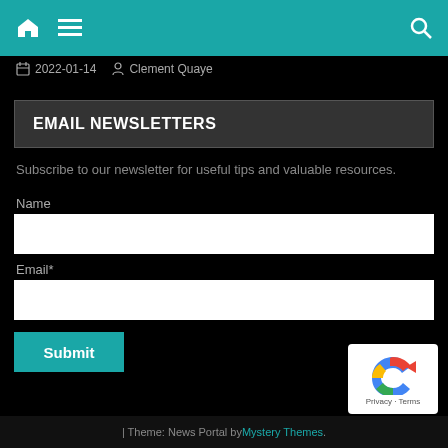Home | Menu | Search
2022-01-14  Clement Quaye
EMAIL NEWSLETTERS
Subscribe to our newsletter for useful tips and valuable resources.
Name
Email*
Submit
| Theme: News Portal by Mystery Themes.